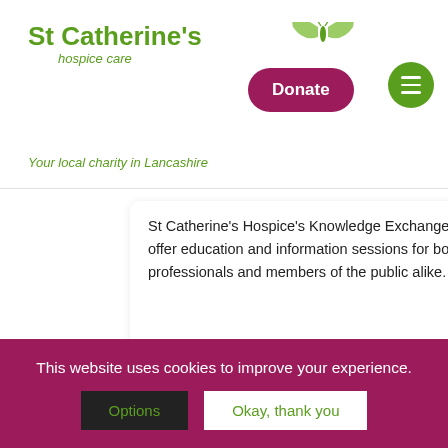[Figure (logo): St Catherine's Hospice Care logo with green butterfly and text]
Your local charity in Lancashire
Donate
St Catherine's Hospice's Knowledge Exchange team are able to offer education and information sessions for both health care professionals and members of the public alike.
03 Sep
Enjoy an Morecam views
Read more
This website uses cookies to improve your experience.
Options
Okay, thank you